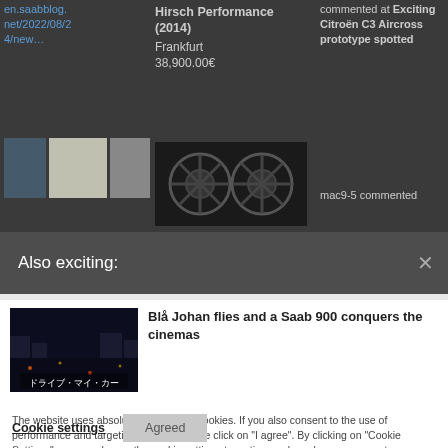en.saabblog.net/2022/08/24/new…
[Figure (screenshot): Three small thumbnail images of cars/parts in a row]
Hirsch Performance (2014)
Frankfurt
38,900.00€
[Figure (photo): Dark alloy wheels photo]
commented at Exciting Citroën C3 Aircross prototype spotted
mac9-5 commented
Also exciting:
[Figure (screenshot): Movie still with Japanese text ドライブ・マイ・カー (Drive My Car)]
Blå Johan flies and a Saab 900 conquers the cinemas
The website uses absolutely necessary cookies. If you also consent to the use of performance and targeting cookies, please click on "I agree". By clicking on "Cookie Settings" you can change the cookie setting at any time and revoke your consent.
Cookie settings
Agreed